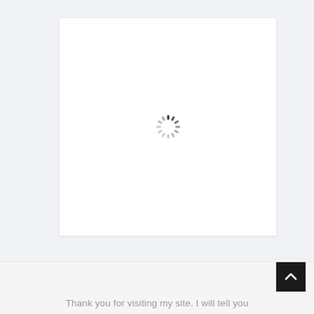[Figure (screenshot): A white card/panel displayed on a light gray background, containing a spinner/loading indicator centered within the white area.]
[Figure (other): A dark square back-to-top button with an upward-pointing chevron arrow, positioned in the bottom-right corner.]
Thank you for visiting my site. I will tell you